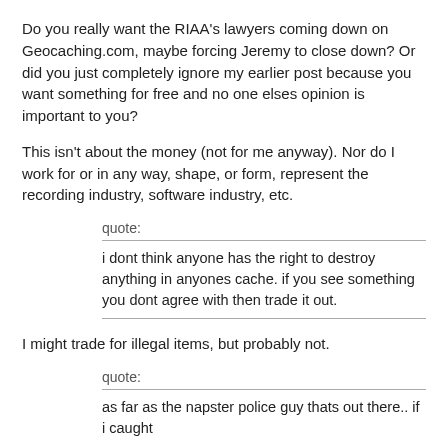Do you really want the RIAA's lawyers coming down on Geocaching.com, maybe forcing Jeremy to close down? Or did you just completely ignore my earlier post because you want something for free and no one elses opinion is important to you?
This isn't about the money (not for me anyway). Nor do I work for or in any way, shape, or form, represent the recording industry, software industry, etc.
quote:
i dont think anyone has the right to destroy anything in anyones cache. if you see something you dont agree with then trade it out.
I might trade for illegal items, but probably not.
quote:
as far as the napster police guy thats out there.. if i caught